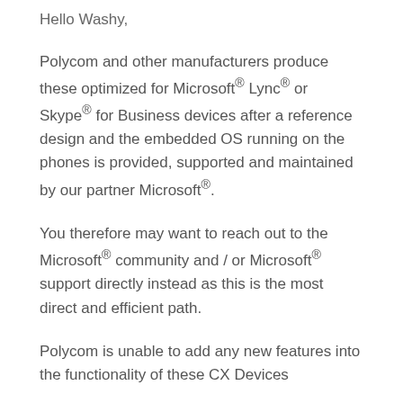Hello Washy,
Polycom and other manufacturers produce these optimized for Microsoft® Lync® or Skype® for Business devices after a reference design and the embedded OS running on the phones is provided, supported and maintained by our partner Microsoft®.
You therefore may want to reach out to the Microsoft® community and / or Microsoft® support directly instead as this is the most direct and efficient path.
Polycom is unable to add any new features into the functionality of these CX Devices
Please try here